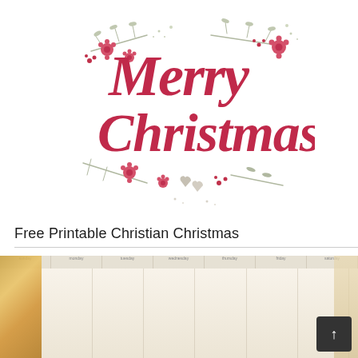[Figure (illustration): Decorative 'Merry Christmas' calligraphy illustration in red script lettering with floral and botanical decorations including flowers, leaves, berries, and heart shapes in muted red, gray, green and taupe colors on white background.]
Free Printable Christian Christmas
[Figure (photo): Partially visible photograph showing cream/beige colored vertical panels or cards displayed side by side, with colorful bunting or banner visible on the left side and what appears to be a book or magazine on the right edge.]